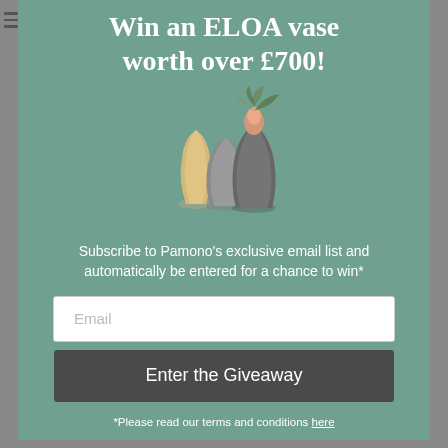Win an ELOA vase worth over £700!
[Figure (illustration): Three decorative ELOA vases of varying sizes and colors (amber, grey, dark grey) with foliage arranged inside the tallest vase, displayed on a teal/green background.]
Subscribe to Pamono's exclusive email list and automatically be entered for a chance to win*
Email
Enter the Giveaway
*Please read our terms and conditions here